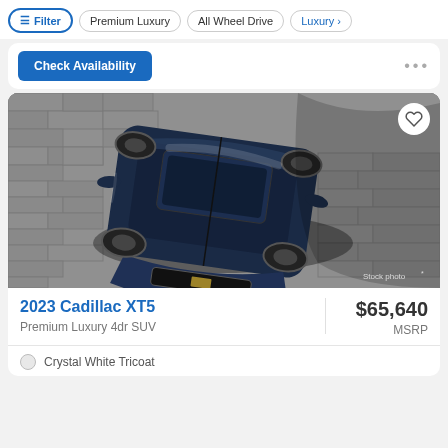Filter | Premium Luxury | All Wheel Drive | Luxury
Check Availability
[Figure (photo): Aerial/top-down view of a dark navy blue 2023 Cadillac XT5 SUV parked on a cobblestone/brick surface. The vehicle is shown from above and slightly to the front-left. A heart/favorite icon is visible in the top right corner. Stock photo label in the bottom right.]
2023 Cadillac XT5
Premium Luxury 4dr SUV
$65,640
MSRP
Crystal White Tricoat